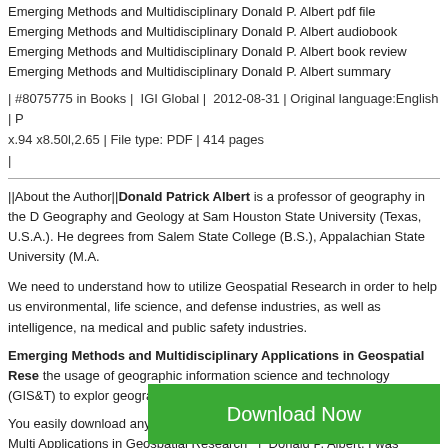Emerging Methods and Multidisciplinary  Donald P. Albert pdf file
Emerging Methods and Multidisciplinary  Donald P. Albert audiobook
Emerging Methods and Multidisciplinary  Donald P. Albert book review
Emerging Methods and Multidisciplinary  Donald P. Albert summary
| #8075775 in Books |  IGI Global |  2012-08-31 | Original language:English | P x.94 x8.50l,2.65 | File type: PDF | 414 pages
|
||About the Author||Donald Patrick Albert is a professor of geography in the D Geography and Geology at Sam Houston State University (Texas, U.S.A.). He degrees from Salem State College (B.S.), Appalachian State University (M.A.
We need to understand how to utilize Geospatial Research in order to help us environmental, life science, and defense industries, as well as intelligence, na medical and public safety industries.
Emerging Methods and Multidisciplinary Applications in Geospatial Rese the usage of geographic information science and technology (GIS&T) to explor geographical issues from various application d...
You easily download any file type for your device.Emerging Methods and Multi Applications in Geospatial Research   |  Donald P. Albert. I was recommended friend of mine.
[Figure (other): Green Download Now button]